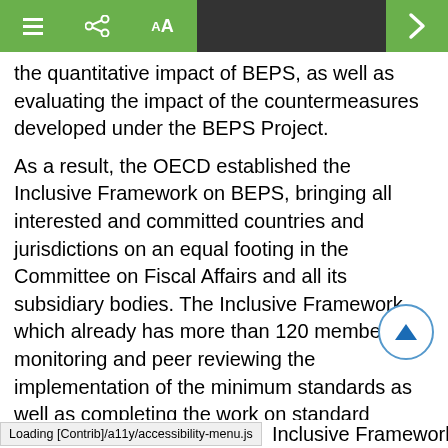Toolbar with list, share, text-size icons and navigation arrow
the quantitative impact of BEPS, as well as evaluating the impact of the countermeasures developed under the BEPS Project.
As a result, the OECD established the Inclusive Framework on BEPS, bringing all interested and committed countries and jurisdictions on an equal footing in the Committee on Fiscal Affairs and all its subsidiary bodies. The Inclusive Framework, which already has more than 120 members, is monitoring and peer reviewing the implementation of the minimum standards as well as completing the work on standard setting to address BEPS issues. In addition to BEPS members, other international organisations and regional tax bodies are involved in the work of the Inclusive Framework, which also consults business and the civil society on its different work streams.
Loading [Contrib]/a11y/accessibility-menu.js    Inclusive Framework on